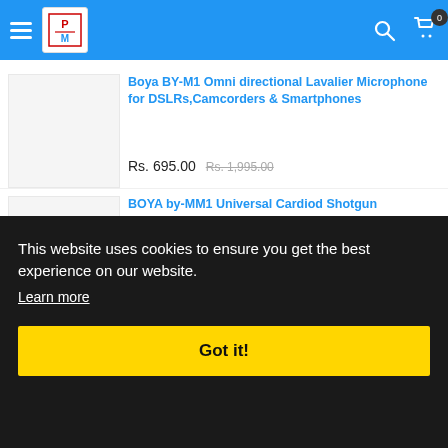RV store header with hamburger menu, logo, search and cart icons
Boya BY-M1 Omni directional Lavalier Microphone for DSLRs,Camcorders & Smartphones
Rs. 695.00  Rs. 1,995.00
BOYA by-MM1 Universal Cardiod Shotgun Microphone Mini Mic for iOS
This website uses cookies to ensure you get the best experience on our website. Learn more
Got it!